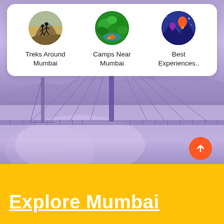[Figure (screenshot): App UI screenshot showing three circular category icons (Treks Around Mumbai, Camps Near Mumbai, Best Experiences..) in a white rounded card, overlaid on a purple-hued photo of a bridge over water (Bandra-Worli Sea Link, Mumbai), with a yellow footer bar and 'Explore Mumbai' text.]
Treks Around Mumbai
Camps Near Mumbai
Best Experiences..
Explore Mumbai